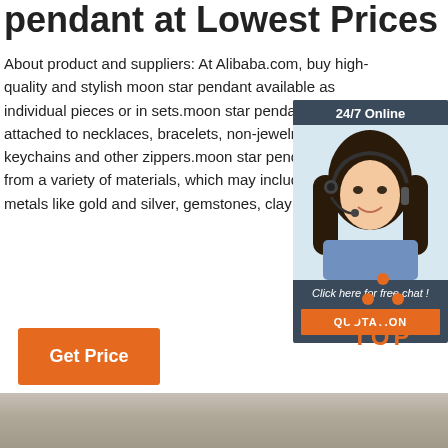pendant at Lowest Prices ...
About product and suppliers: At Alibaba.com, buy high-quality and stylish moon star pendant available as individual pieces or in sets.moon star pendant can be attached to necklaces, bracelets, non-jewelry items like keychains and other zippers.moon star pendant are made from a variety of materials, which may include precious metals like gold and silver, gemstones, clay ...
[Figure (photo): Chat widget with a woman wearing a headset, dark background, '24/7 Online' header, 'Click here for free chat!' text, and orange QUOTATION button]
Get Price
[Figure (other): Orange TOP button icon with dots arranged in triangle above the text TOP]
[Figure (photo): Bottom strip showing a gray/beige textured surface]